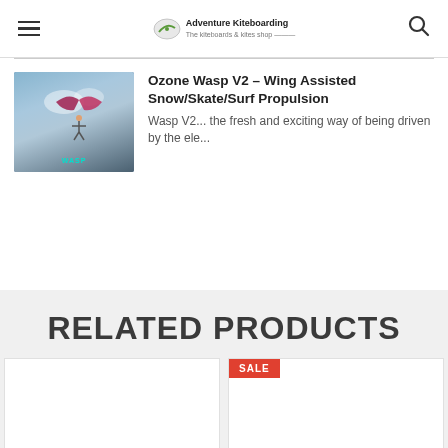Adventure Kiteboarding
[Figure (photo): Ozone Wasp V2 kite product thumbnail showing a person flying a wing-assisted kite against a sky background, with 'WASP' label in teal at the bottom]
Ozone Wasp V2 – Wing Assisted Snow/Skate/Surf Propulsion
Wasp V2... the fresh and exciting way of being driven by the ele...
RELATED PRODUCTS
[Figure (photo): Related product card 1 - white background product image]
[Figure (photo): Related product card 2 - white background product image with SALE badge]